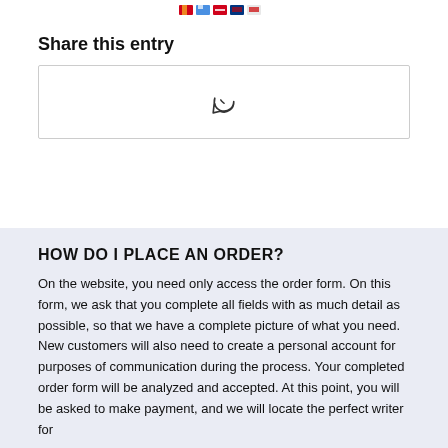[Flag icons row]
Share this entry
[Figure (other): WhatsApp share button box with WhatsApp icon centered inside a bordered rectangle]
HOW DO I PLACE AN ORDER?
On the website, you need only access the order form. On this form, we ask that you complete all fields with as much detail as possible, so that we have a complete picture of what you need. New customers will also need to create a personal account for purposes of communication during the process. Your completed order form will be analyzed and accepted. At this point, you will be asked to make payment, and we will locate the perfect writer for